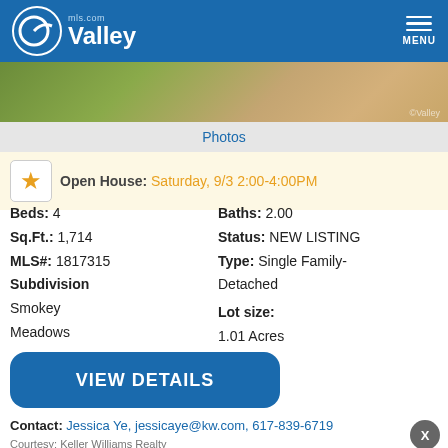Valley mls.com MENU
[Figure (photo): Partial view of property exterior, grass and sandy/dirt area visible]
Photos
Open House: Saturday, 9/3 2:00-4:00PM
Beds: 4
Sq.Ft.: 1,714
MLS#: 1817315
Subdivision
Smokey Meadows
Baths: 2.00
Status: NEW LISTING
Type: Single Family-Detached
Lot size:
1.01 Acres
VIEW DETAILS
Contact: Jessica Ye, jessicaye@kw.com, 617-839-6719
Courtesy: Keller Williams Realty